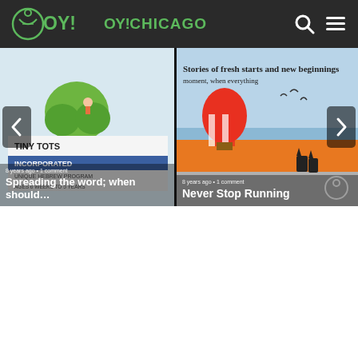OY!CHICAGO
[Figure (screenshot): Left carousel card showing Tiny Tots Incorporated preschool image with text overlay: '8 years ago • 1 comment' and title 'Spreading the word; when should...']
[Figure (screenshot): Right carousel card showing book cover image with hot air balloon, text overlay: '8 years ago • 1 comment' and title 'Never Stop Running']